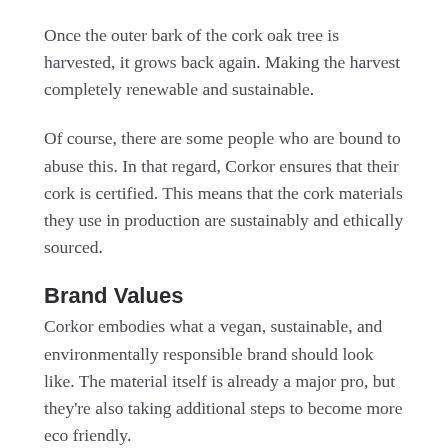Once the outer bark of the cork oak tree is harvested, it grows back again. Making the harvest completely renewable and sustainable.
Of course, there are some people who are bound to abuse this. In that regard, Corkor ensures that their cork is certified. This means that the cork materials they use in production are sustainably and ethically sourced.
Brand Values
Corkor embodies what a vegan, sustainable, and environmentally responsible brand should look like. The material itself is already a major pro, but they're also taking additional steps to become more eco friendly.
They source and manufacture all of their products